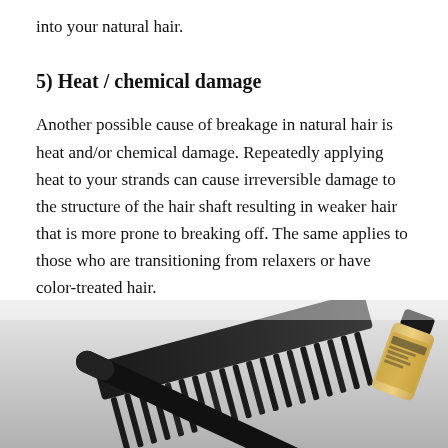into your natural hair.
5) Heat / chemical damage
Another possible cause of breakage in natural hair is heat and/or chemical damage. Repeatedly applying heat to your strands can cause irreversible damage to the structure of the hair shaft resulting in weaker hair that is more prone to breaking off. The same applies to those who are transitioning from relaxers or have color-treated hair.
[Figure (photo): Photo of a wide-tooth hair comb with black bristles and a small bottle of hair oil product, along with a black cylindrical tool, arranged on a white/grey background.]